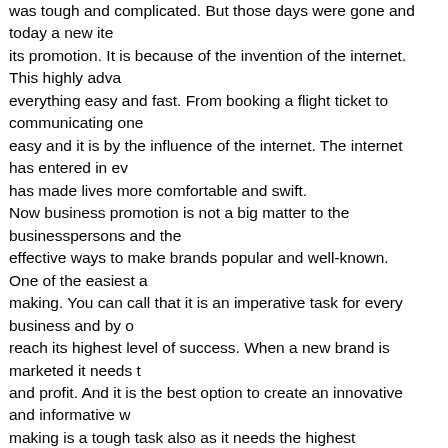was tough and complicated. But those days were gone and today a new item its promotion. It is because of the invention of the internet. This highly adva everything easy and fast. From booking a flight ticket to communicating one easy and it is by the influence of the internet. The internet has entered in ev has made lives more comfortable and swift. Now business promotion is not a big matter to the businesspersons and the effective ways to make brands popular and well-known. One of the easiest a making. You can call that it is an imperative task for every business and by o reach its highest level of success. When a new brand is marketed it needs t and profit. And it is the best option to create an innovative and informative w making is a tough task also as it needs the highest efficiency. You can get m services as there are many designers but it is a challenge to find an innovat team for the purpose. Your website is the face of what you provide to the people. It can say everyt eminence. Thus, it should be created sincerely and in an efficient manner th visitors easily with its first glimpse. When a visitor visits your website he lea interesting issue in it. And making your website interesting and attractive, yo website designer or a designing team that is efficient, creative, and resource you will be able to find out the best Web Design Adelaide that can support y creative designer inputs all your essential data and images to your website about your business.